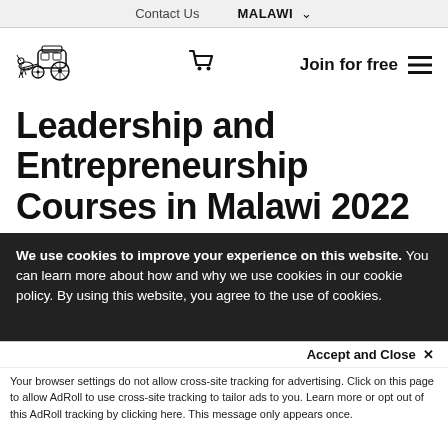Contact Us   MALAWI ▾
[Figure (logo): Horse-drawn carriage logo (dark ink illustration)]
Join for free  ☰
Leadership and Entrepreneurship Courses in Malawi 2022
We use cookies to improve your experience on this website. You can learn more about how and why we use cookies in our cookie policy. By using this website, you agree to the use of cookies.
Accept and Close ✕
Your browser settings do not allow cross-site tracking for advertising. Click on this page to allow AdRoll to use cross-site tracking to tailor ads to you. Learn more or opt out of this AdRoll tracking by clicking here. This message only appears once.